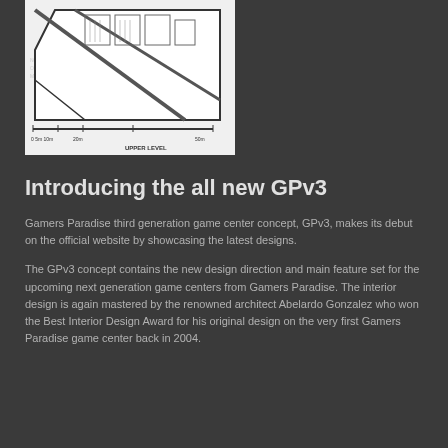[Figure (schematic): Architectural floor plan drawing showing the upper level of a building with diagonal layout. Scale bar at the bottom reads: 0, 5m, 10m, 20m, 50m. Label reads UPPER LEVEL. Watermark text visible: GAMERSPARADISE.COM repeated across the image.]
Introducing the all new GPv3
Gamers Paradise third generation game center concept, GPv3, makes its debut on the official website by showcasing the latest designs.
The GPv3 concept contains the new design direction and main feature set for the upcoming next generation game centers from Gamers Paradise. The interior design is again mastered by the renowned architect Abelardo Gonzalez who won the Best Interior Design Award for his original design on the very first Gamers Paradise game center back in 2004.